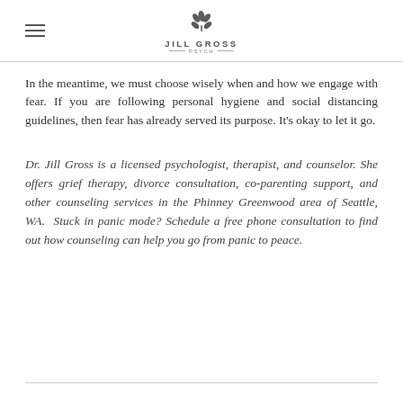Jill Gross Psych
In the meantime, we must choose wisely when and how we engage with fear. If you are following personal hygiene and social distancing guidelines, then fear has already served its purpose. It's okay to let it go.
Dr. Jill Gross is a licensed psychologist, therapist, and counselor. She offers grief therapy, divorce consultation, co-parenting support, and other counseling services in the Phinney Greenwood area of Seattle, WA. Stuck in panic mode? Schedule a free phone consultation to find out how counseling can help you go from panic to peace.